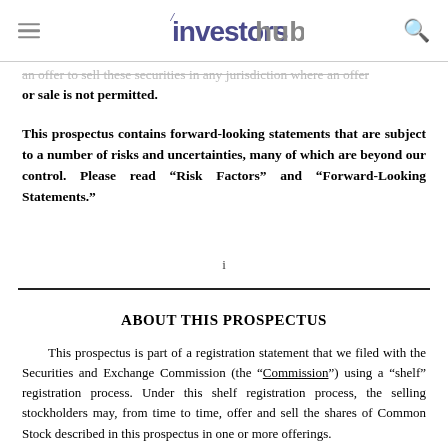investorshub
an offer to sell these securities in any jurisdiction where an offer or sale is not permitted.
This prospectus contains forward-looking statements that are subject to a number of risks and uncertainties, many of which are beyond our control. Please read “Risk Factors” and “Forward-Looking Statements.”
i
ABOUT THIS PROSPECTUS
This prospectus is part of a registration statement that we filed with the Securities and Exchange Commission (the “Commission”) using a “shelf” registration process. Under this shelf registration process, the selling stockholders may, from time to time, offer and sell the shares of Common Stock described in this prospectus in one or more offerings.